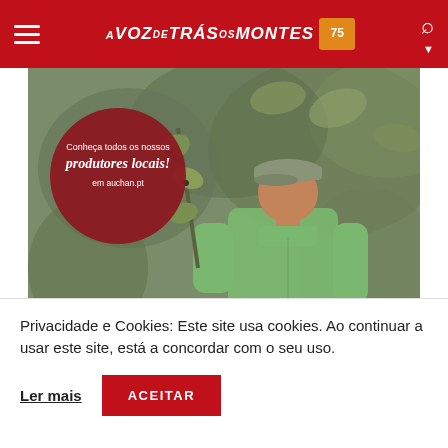A VOZ de TRÁS os MONTES 75
[Figure (photo): Advertisement photo showing an elderly farmer working among green plants/trees, with a dark red circular badge overlay reading 'Conheça todos os nossos produtores locais! em auchan.pt']
Privacidade e Cookies: Este site usa cookies. Ao continuar a usar este site, está a concordar com o seu uso.
Ler mais
ACEITAR